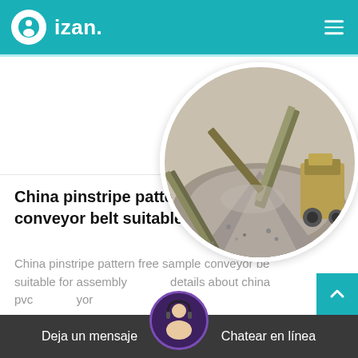izan.
[Figure (photo): Circular photo of industrial conveyor belt equipment with a large pile of gravel/aggregate at a mining or quarry site, with yellow heavy machinery in the background]
China pinstripe pattern free sample conveyor belt suitable
China pinstripe pattern free sample conveyor be suitable for assembly details about china pvc yor
Deja un mensaje   Chatear en línea